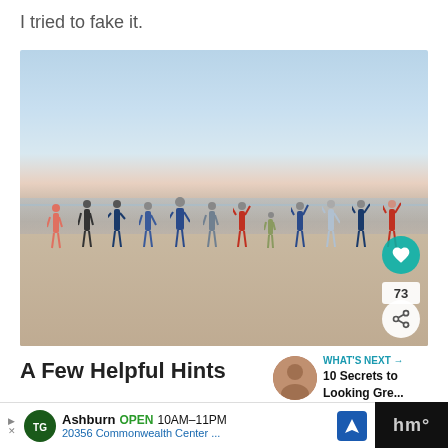I tried to fake it.
[Figure (photo): Group of people posing on a beach at sunset/dusk, arms raised, standing in a line at the water's edge. Social media post image with heart/like button showing 73 likes and a share button.]
A Few Helpful Hints
[Figure (infographic): What's Next panel showing a woman avatar and text '10 Secrets to Looking Gre...']
The...
[Figure (screenshot): Advertisement bar at bottom: Topgolf Ashburn OPEN 10AM-11PM, 20356 Commonwealth Center ... with navigation icon and dark box on right.]